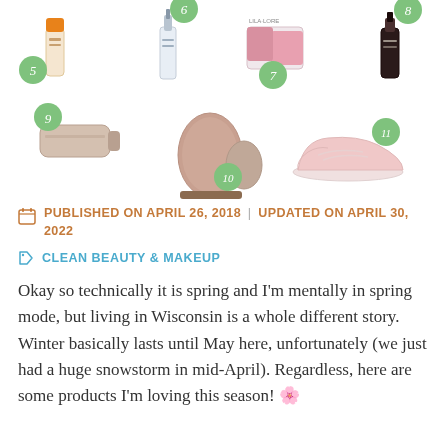[Figure (photo): Product collage showing numbered beauty and lifestyle items: item 5 (sunscreen tube), item 6 (serum bottle), item 7 (blush compact), item 8 (dropper bottle), item 9 (face/body cream tube), item 10 (Himalayan salt rock lamp), item 11 (pink sneaker/canvas shoe)]
PUBLISHED ON APRIL 26, 2018 | UPDATED ON APRIL 30, 2022
CLEAN BEAUTY & MAKEUP
Okay so technically it is spring and I'm mentally in spring mode, but living in Wisconsin is a whole different story. Winter basically lasts until May here, unfortunately (we just had a huge snowstorm in mid-April). Regardless, here are some products I'm loving this season! 🌸